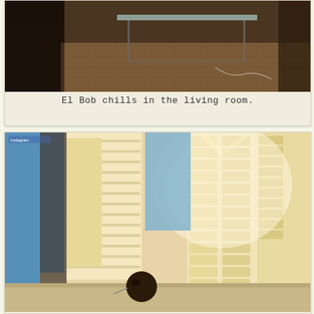[Figure (photo): Interior living room photo showing tiled floor and glass/metal table with cable, dark furniture visible on left side]
El Bob chills in the living room.
[Figure (photo): High-rise apartment building exterior viewed from above with balconies, bright sunlight flare, and a small round dark object (El Bob) sitting on a windowsill/ledge in the foreground]